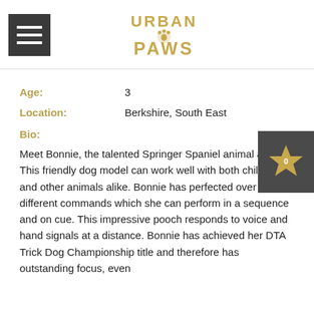[Figure (logo): Urban Paws logo in gold text with paw print graphic, accompanied by a dark square hamburger menu icon on the left]
Age: 3
Location: Berkshire, South East
Bio:
[Figure (other): Dark grey square widget with a gold star icon and the number 0]
Meet Bonnie, the talented Springer Spaniel animal actor. This friendly dog model can work well with both children and other animals alike. Bonnie has perfected over 150 different commands which she can perform in a sequence and on cue. This impressive pooch responds to voice and hand signals at a distance. Bonnie has achieved her DTA Trick Dog Championship title and therefore has outstanding focus, even